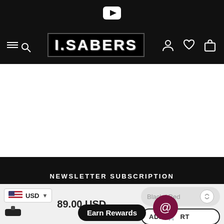[Figure (screenshot): YouTube icon in top black bar]
[Figure (logo): I.SABERS logo in navigation bar with hamburger/search icon and user/wishlist/cart icons]
[Figure (screenshot): White content area (product image area, mostly blank/white)]
NEWSLETTER SUBSCRIPTION
USD
89.00 USD
Black / Red
ADD TO CART
Earn Rewards